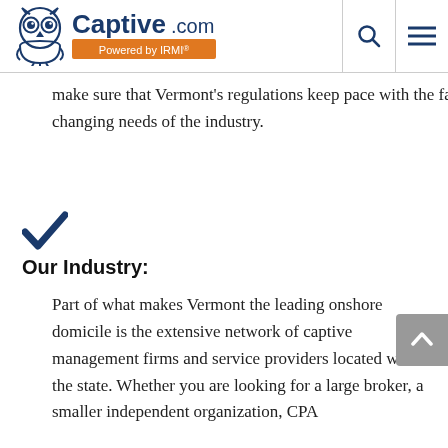Captive.com Powered by IRMI
make sure that Vermont's regulations keep pace with the fast-changing needs of the industry.
Our Industry:
Part of what makes Vermont the leading onshore domicile is the extensive network of captive management firms and service providers located within the state. Whether you are looking for a large broker, a smaller independent organization, CPA...